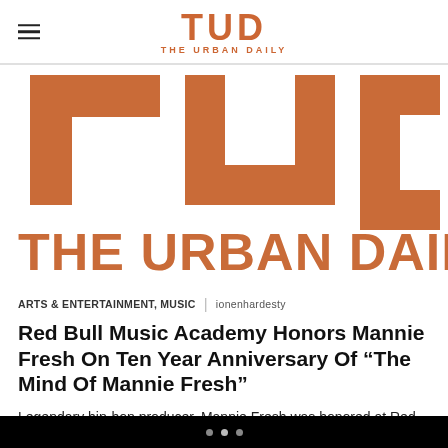TUD THE URBAN DAILY
[Figure (logo): Large TUD logo with THE URBAN DAILY text in copper/orange color, cropped hero banner]
ARTS & ENTERTAINMENT, MUSIC | ionenhardesty
Red Bull Music Academy Honors Mannie Fresh On Ten Year Anniversary Of “The Mind Of Mannie Fresh”
Legendary hip-hop producer, Mannie Fresh was honored at Red Bull Music Academy Presents: The Mind of Mannie Fresh on